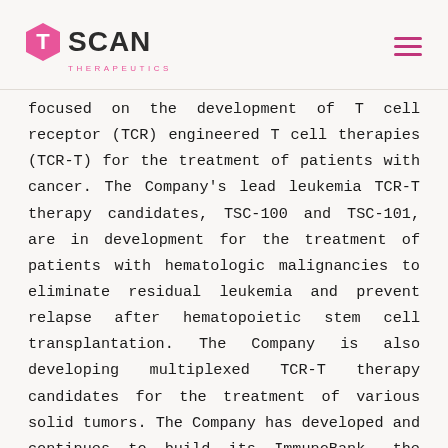TScan Therapeutics
focused on the development of T cell receptor (TCR) engineered T cell therapies (TCR-T) for the treatment of patients with cancer. The Company's lead leukemia TCR-T therapy candidates, TSC-100 and TSC-101, are in development for the treatment of patients with hematologic malignancies to eliminate residual leukemia and prevent relapse after hematopoietic stem cell transplantation. The Company is also developing multiplexed TCR-T therapy candidates for the treatment of various solid tumors. The Company has developed and continues to build its ImmunoBank, the Company's bank of therapeutic TCRs that recognize diverse targets and are associated with multiple HLA types in order to provide a broad array of therapeutic options for patients